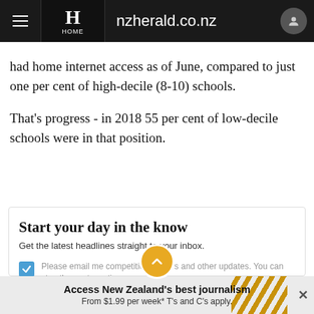nzherald.co.nz
had home internet access as of June, compared to just one per cent of high-decile (8-10) schools.
That's progress - in 2018 55 per cent of low-decile schools were in that position.
Start your day in the know
Get the latest headlines straight to your inbox.
Please email me competitions, offers and other updates. You can stop these at any time.
Access New Zealand's best journalism From $1.99 per week* T's and C's apply.